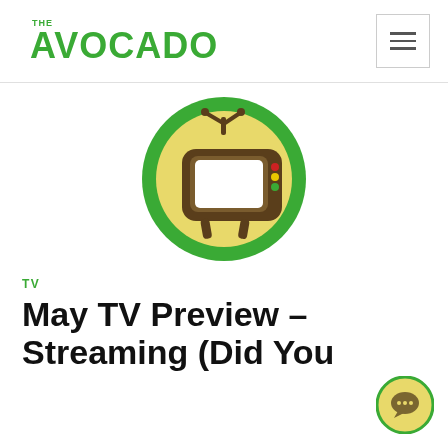THE AVOCADO
[Figure (logo): The Avocado website logo: a retro cartoon television set inside a yellow circle with a thick green border]
TV
May TV Preview – Streaming (Did You